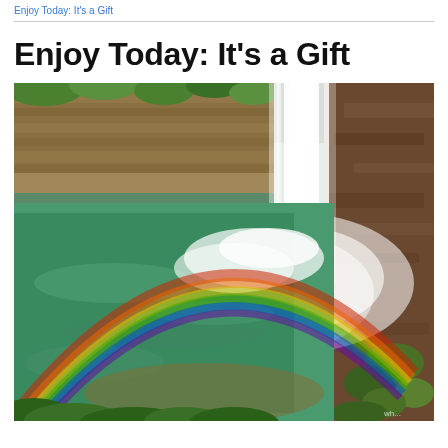Enjoy Today: It's a Gift
Enjoy Today: It's a Gift
[Figure (photo): A large waterfall cascading over rocky cliffs into a turquoise green pool below, with a vibrant rainbow arching across the mist in the foreground. Rocky canyon walls with vegetation visible in the background. Lush green foliage at the bottom and right side of the image.]